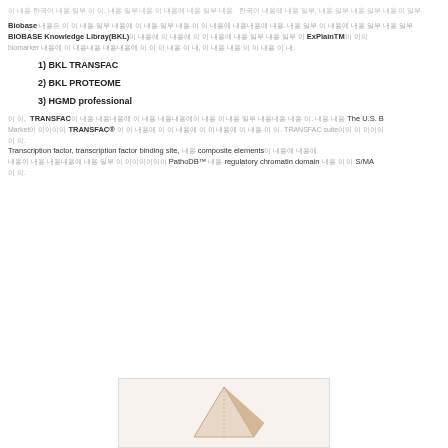이 내용은 한국어 텍스트 내용 일부 이다. 내용 일부 내용 이 내용에 내용 일부 내용  한국어 텍스트 내용 일부, 내용 일부 내용 일부 내용 일부
Biobase 내용은 이 이 내용 일부 내용에 이 내용 일부 내용 이 이 내용에 내용내용에 내용. 내용 일부 이 내용에 내용 일부 내용 일부 BIOBASE Knowledge Libray(BKL)이 내용에 이 내용에 이 이 내용에 내용 일부 내용 일부 이 ExPlainTM이 이이 biomarker 내용에 이 내용내용 내용내용에 이 이 이 내용 이 내, 이 내용 내용 이 이 내용 이 내.
1) BKL TRANSFAC
2) BKL PROTEOME
3) HGMD professional
이 이,  TRANSFAC이 내용 내용내용에 이 내용 내용내용에이 내용 이 내용 일부 내용내용 내용 이. 내용 내용 The U.S. B Market이 이이이이 TRANSFAC® 이 이 내용에 이 이 내용에 이 이 내용에 이 내용 이 이. TRANSFAC suite이이 이 이이이 이 이. Transcription factor, transcription factor binding site, 내용 composite elements이 내용에 내용에 내용이 내용 내용내용에 내용 일부 이 이이이이이이 PathoDB™ 내용 regulatory chromatin domain 내용 이 이 S/MA 이 이.
[Figure (illustration): Triangular pyramid/logo illustration on light background]